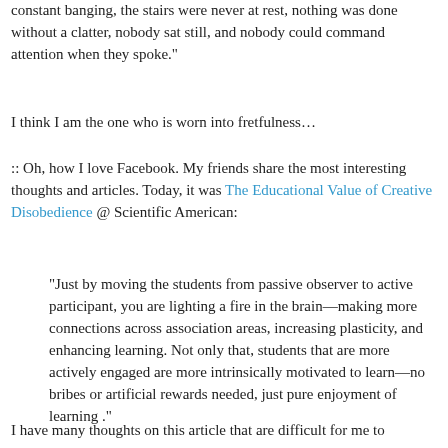constant banging, the stairs were never at rest, nothing was done without a clatter, nobody sat still, and nobody could command attention when they spoke."
I think I am the one who is worn into fretfulness…
:: Oh, how I love Facebook. My friends share the most interesting thoughts and articles. Today, it was The Educational Value of Creative Disobedience @ Scientific American:
"Just by moving the students from passive observer to active participant, you are lighting a fire in the brain—making more connections across association areas, increasing plasticity, and enhancing learning. Not only that, students that are more actively engaged are more intrinsically motivated to learn—no bribes or artificial rewards needed, just pure enjoyment of learning ."
I have many thoughts on this article that are difficult for me to